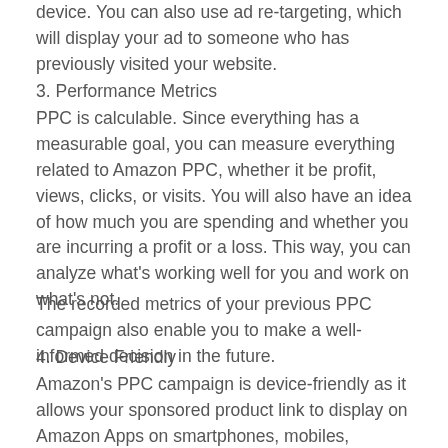device. You can also use ad re-targeting, which will display your ad to someone who has previously visited your website.
3. Performance Metrics
PPC is calculable. Since everything has a measurable goal, you can measure everything related to Amazon PPC, whether it be profit, views, clicks, or visits. You will also have an idea of how much you are spending and whether you are incurring a profit or a loss. This way, you can analyze what's working well for you and work on what's not.
The recorded metrics of your previous PPC campaign also enable you to make a well-informed decision in the future.
4. Device Friendly
Amazon's PPC campaign is device-friendly as it allows your sponsored product link to display on Amazon Apps on smartphones, mobiles, laptops, and tablets.
5. Faster Results
With PPC you get faster results and you can notice the effects